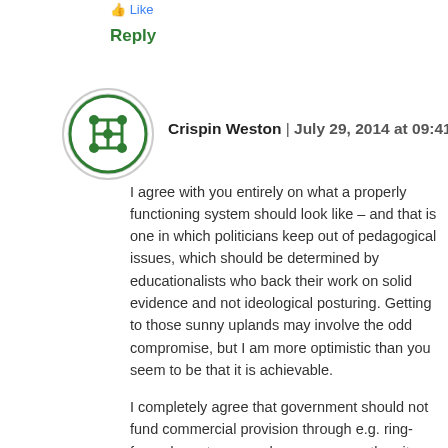Like
Reply
[Figure (logo): Green circular avatar icon with a grid/cross pattern in white on green background]
Crispin Weston | July 29, 2014 at 09:41
I agree with you entirely on what a properly functioning system should look like – and that is one in which politicians keep out of pedagogical issues, which should be determined by educationalists who back their work on solid evidence and not ideological posturing. Getting to those sunny uplands may involve the odd compromise, but I am more optimistic than you seem to be that it is achievable.
I completely agree that government should not fund commercial provision through e.g. ring-fenced grants or vouchers, any more than it should fund OER provision. It is essential that ed-tech providers, whatever their business model, should earn their keep by delivering genuine